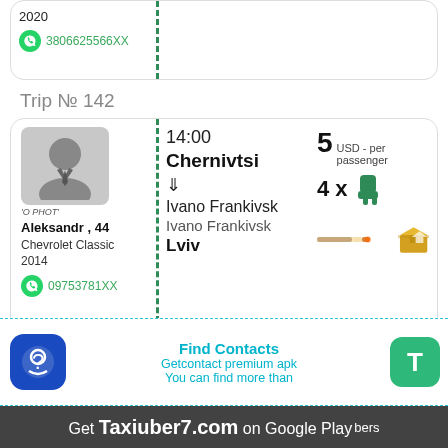2020
3806625566XX
Trip № 142
[Figure (illustration): Driver card with avatar placeholder, name Aleksandr age 44, car Chevrolet Classic 2014, WhatsApp number 09753781XX, trip from Chernivtsi to Ivano Frankivsk to Lviv at 14:00, price 5 USD per passenger, 4 seats available, smoking and parcel icons]
[Figure (infographic): Advertisement banner for Getcontact premium apk with Find Contacts text and T button, overlaid by Get Taxiuber7.com on Google Play bar]